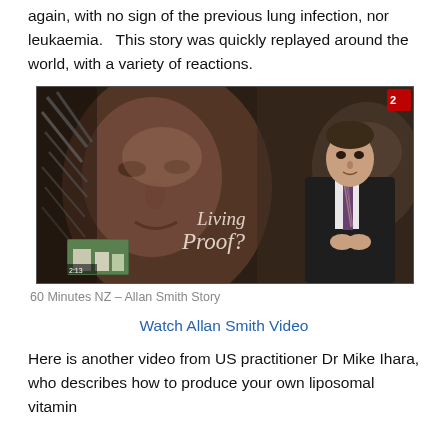again, with no sign of the previous lung infection, nor leukaemia.   This story was quickly replayed around the world, with a variety of reactions.
[Figure (screenshot): Screenshot of a TV news broadcast showing a news anchor in a suit standing in front of a large video screen displaying the face of a man. The overlay text reads 'Living Proof?' in white serif font. A small thumbnail image appears in the lower left corner of the screen.]
60 Minutes NZ – Allan Smith Story
Watch Allan Smith Video
Here is another video from US practitioner Dr Mike Ihara, who describes how to produce your own liposomal vitamin